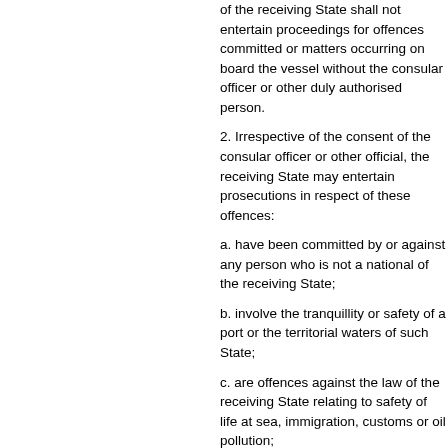of the receiving State shall not entertain proceedings for offences committed or matters occurring on board the vessel without the consular officer or other duly authorised person.
2. Irrespective of the consent of the consular officer or other official, the receiving State may entertain prosecutions in respect of any of these offences:
a. have been committed by or against any person who is not a national of the receiving State;
b. involve the tranquillity or safety of a port or the territorial waters of such State;
c. are offences against the law of the receiving State relating to safety of life at sea, immigration, customs or oil pollution;
d. are grave offences.
3. The administrative authorities of the receiving State shall notify the consular officer or other duly authorised person—
a. where a person has been charged with having committed an offence, the judicial authorities of the receiving State may take cognizance for prosecution, or where there is reasonable cause to believe that an offence has been committed, on board;
b. where they are entitled to intervene in conformity with paragraphs;
c. where a person is detained on board against his will whether or not for a disciplinary offence;
d. for the purpose of taking any action or making any investigation into any of the matters specified in sub-paragraphs
4. For the purposes of this article, the term